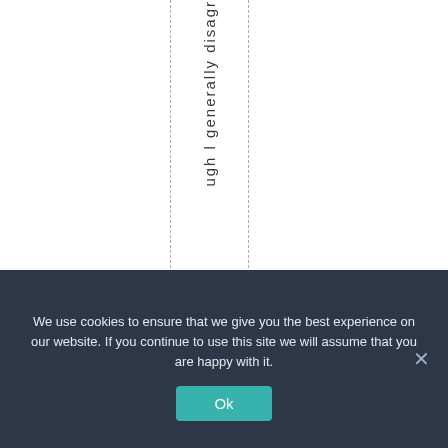ugh l generally disagr
We use cookies to ensure that we give you the best experience on our website. If you continue to use this site we will assume that you are happy with it.